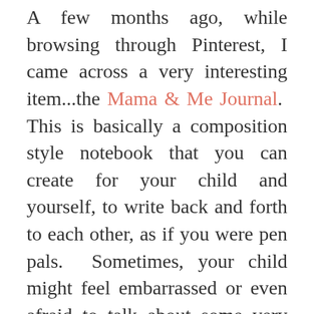A few months ago, while browsing through Pinterest, I came across a very interesting item...the Mama & Me Journal. This is basically a composition style notebook that you can create for your child and yourself, to write back and forth to each other, as if you were pen pals. Sometimes, your child might feel embarrassed or even afraid to talk about some very important topics with you. That's why this notebook is perfect; as it allows them the freedom to ask questions or discuss concerns they may be having, (especially during the tough tween/teen years), without having an uncomfortable conversation with you. It's important for your child to know that this is a private journal that only the two of you will be